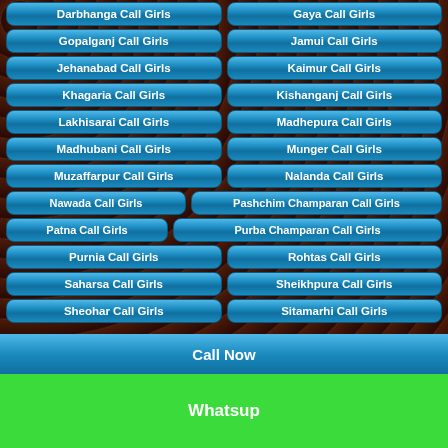Darbhanga Call Girls
Gaya Call Girls
Gopalganj Call Girls
Jamui Call Girls
Jehanabad Call Girls
Kaimur Call Girls
Khagaria Call Girls
Kishanganj Call Girls
Lakhisarai Call Girls
Madhepura Call Girls
Madhubani Call Girls
Munger Call Girls
Muzaffarpur Call Girls
Nalanda Call Girls
Nawada Call Girls
Pashchim Champaran Call Girls
Patna Call Girls
Purba Champaran Call Girls
Purnia Call Girls
Rohtas Call Girls
Saharsa Call Girls
Sheikhpura Call Girls
Sheohar Call Girls
Sitamarhi Call Girls
Call Now
Whatsup